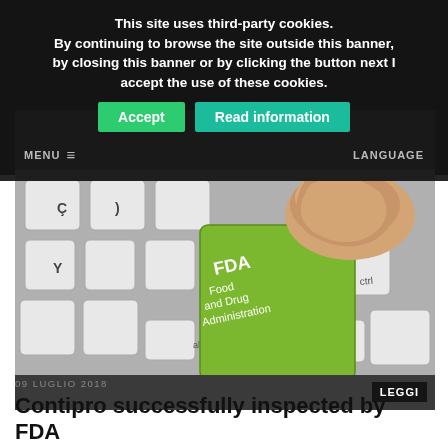This site uses third-party cookies. By continuing to browse the site outside this banner, by closing this banner or by clicking the button next I accept the use of these cookies.
Accept   Read information
MENU  ≡                              LANGUAGE
[Figure (photo): Close-up photograph of a keyboard with a green key labeled 'FDA Food and Drug Administration' being pressed by a finger. Other keys visible include Ç, Y, ctrl, alt keys on a white keyboard.]
LEGGI
09 LUGLIO 2018
Contipro successfully inspected by FDA